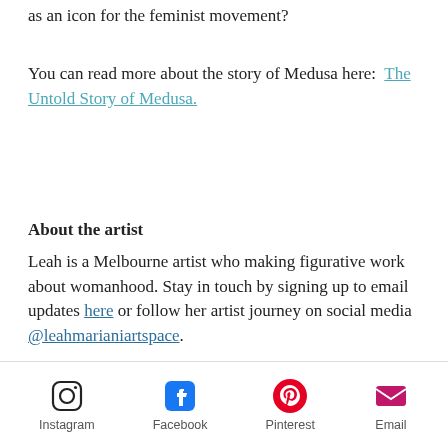as an icon for the feminist movement?
You can read more about the story of Medusa here: The Untold Story of Medusa.
About the artist
Leah is a Melbourne artist who making figurative work about womanhood. Stay in touch by signing up to email updates here or follow her artist journey on social media @leahmarianiartspace.
#Klimt #GustavKlimt #figurativea... #figurativeartist #Klimtinspiration
Instagram  Facebook  Pinterest  Email